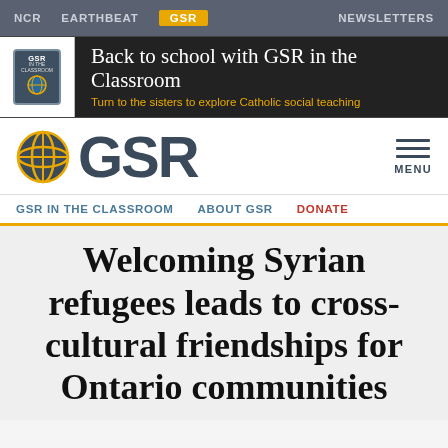NCR  EARTHBEAT  GSR  NEWSLETTERS
[Figure (screenshot): GSR In The Classroom banner ad with chalkboard background. Text reads: Back to school with GSR in the Classroom. Subtext: Turn to the sisters to explore Catholic social teaching.]
[Figure (logo): GSR logo with globe icon and text GSR in large letters, with hamburger MENU icon on the right]
GSR IN THE CLASSROOM  ABOUT GSR  DONATE
Welcoming Syrian refugees leads to cross-cultural friendships for Ontario communities